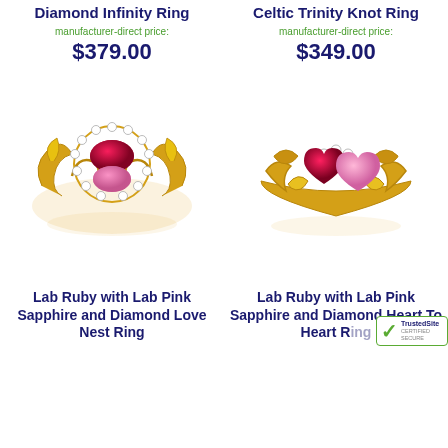Diamond Infinity Ring
manufacturer-direct price:
$379.00
Celtic Trinity Knot Ring
manufacturer-direct price:
$349.00
[Figure (photo): Gold Lab Ruby with Lab Pink Sapphire and Diamond Love Nest Ring]
[Figure (photo): Gold Lab Ruby with Lab Pink Sapphire and Diamond Heart To Heart Ring]
Lab Ruby with Lab Pink Sapphire and Diamond Love Nest Ring
Lab Ruby with Lab Pink Sapphire and Diamond Heart To Heart Ring
[Figure (logo): TrustedSite Certified Secure badge]